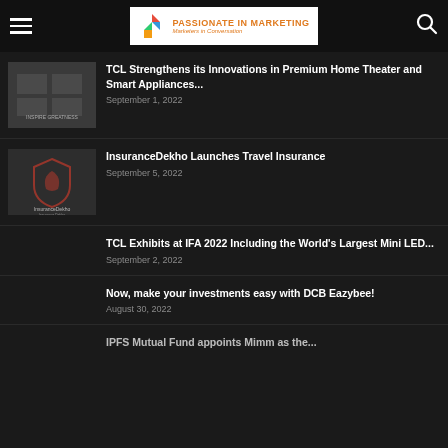Passionate in Marketing — Marketers in Conversation
TCL Strengthens its Innovations in Premium Home Theater and Smart Appliances...
September 1, 2022
InsuranceDekho Launches Travel Insurance
September 5, 2022
TCL Exhibits at IFA 2022 Including the World's Largest Mini LED...
September 2, 2022
Now, make your investments easy with DCB Eazybee!
August 30, 2022
IPFS Mutual Fund appoints Mimm as the...